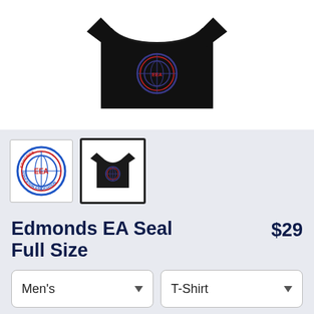[Figure (photo): Black t-shirt with Edmonds EA circular seal design on chest, displayed on white background]
[Figure (photo): Thumbnail 1: Edmonds EA seal logo circular badge in blue and red]
[Figure (photo): Thumbnail 2: Black t-shirt with Edmonds EA seal design (currently selected)]
Edmonds EA Seal Full Size
$29
Men's
T-Shirt
SELECT YOUR FIT
$19
Regular
$22
Extra Soft